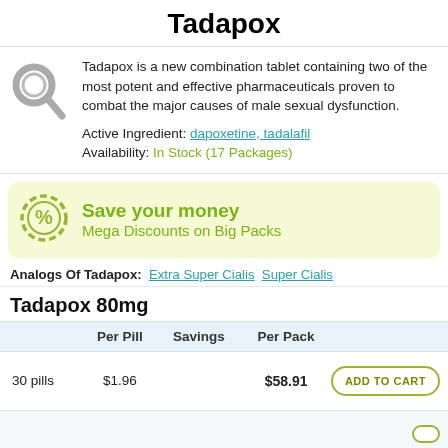Tadapox
Tadapox is a new combination tablet containing two of the most potent and effective pharmaceuticals proven to combat the major causes of male sexual dysfunction.

Active Ingredient: dapoxetine, tadalafil
Availability: In Stock (17 Packages)
Save your money
Mega Discounts on Big Packs
Analogs Of Tadapox: Extra Super Cialis  Super Cialis
Tadapox 80mg
|  | Per Pill | Savings | Per Pack |  |
| --- | --- | --- | --- | --- |
| 30 pills | $1.96 |  | $58.91 | ADD TO CART |